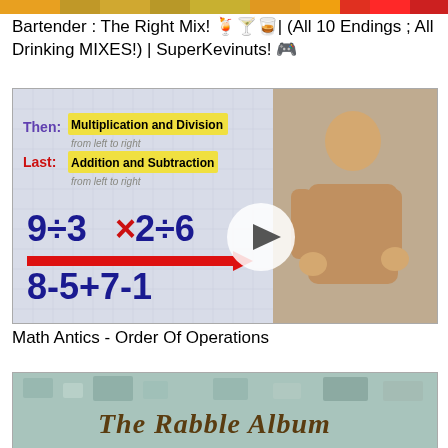[Figure (screenshot): Top partial image strip showing colorful thumbnail]
Bartender : The Right Mix! 🍹🍸🥃| (All 10 Endings ; All Drinking MIXES!) | SuperKevinuts! 🎮
[Figure (screenshot): Video thumbnail showing Math Antics - Order of Operations. A teacher stands in front of a whiteboard showing: Then: Multiplication and Division from left to right, Last: Addition and Subtraction from left to right, with math expression 9÷3×2÷6 and red arrow, and 8-5+7-1. A play button is overlaid.]
Math Antics - Order Of Operations
[Figure (screenshot): Partial thumbnail showing The Rabble Album text on a textured blue-green background]